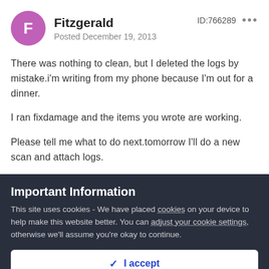Fitzgerald — Posted December 19, 2013 — ID:766289
There was nothing to clean, but I deleted the logs by mistake.i'm writing from my phone because I'm out for a dinner.
I ran fixdamage and the items you wrote are working.
Please tell me what to do next.tomorrow I'll do a new scan and attach logs.
Important Information
This site uses cookies - We have placed cookies on your device to help make this website better. You can adjust your cookie settings, otherwise we'll assume you're okay to continue.
✓  I accept